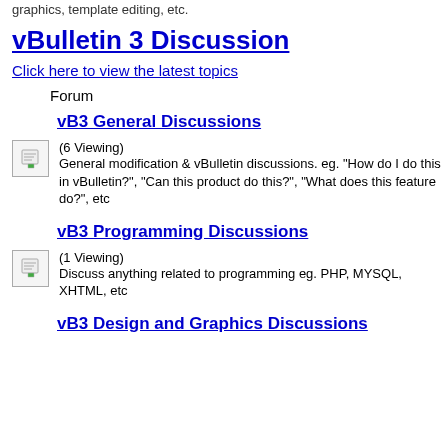graphics, template editing, etc.
vBulletin 3 Discussion
Click here to view the latest topics
Forum
vB3 General Discussions
(6 Viewing)
General modification & vBulletin discussions. eg. "How do I do this in vBulletin?", "Can this product do this?", "What does this feature do?", etc
vB3 Programming Discussions
(1 Viewing)
Discuss anything related to programming eg. PHP, MYSQL, XHTML, etc
vB3 Design and Graphics Discussions